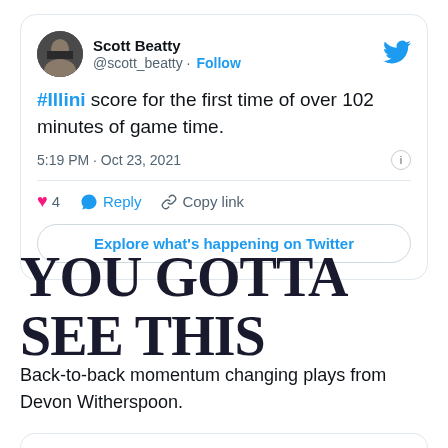[Figure (screenshot): Tweet by Scott Beatty (@scott_beatty) with text: '#Illini score for the first time of over 102 minutes of game time.' Posted at 5:19 PM · Oct 23, 2021. Shows 4 likes, Reply, Copy link actions, and Explore what's happening on Twitter button.]
YOU GOTTA SEE THIS
Back-to-back momentum changing plays from Devon Witherspoon.